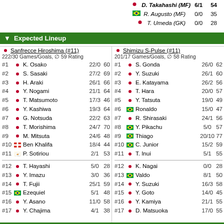D. Takahashi (MF) 6/1 54
R. Augusto (MF) 0/0 35
T. Umeda (GK) 0/0 28
▼ Expected Lineup
| # | Flag | Player | Games/Goals | Rating |
| --- | --- | --- | --- | --- |
| Sanfrecce Hiroshima (#11) |  |  | 222/30 Games/Goals, ∅ 59 Rating |  |
| #1 | JP | K. Osako | 22/0 | 60 |
| #2 | JP | S. Sasaki | 27/2 | 69 |
| #3 | JP | H. Araki | 26/1 | 66 |
| #4 | JP | Y. Nogami | 21/1 | 64 |
| #5 | JP | T. Matsumoto | 17/3 | 46 |
| #6 | JP | Y. Kashiwa | 19/3 | 64 |
| #7 | JP | G. Notsuda | 22/2 | 63 |
| #8 | JP | T. Morishima | 24/7 | 70 |
| #9 | JP | M. Mitsuta | 24/6 | 48 |
| #10 | CH | Ben Khalifa | 18/4 | 44 |
| #11 | CY | P. Sotiriou | 2/1 | 53 |
| #12 | JP | T. Hayashi | 5/0 | 28 |
| #13 | JP | Y. Imazu | 3/0 | 36 |
| #14 | JP | T. Fujii | 25/1 | 59 |
| #15 | BR | Ezequiel | 5/1 | 48 |
| #16 | JP | Y. Asano | 11/0 | 58 |
| #17 | JP | Y. Chajima | 4/1 | 38 |
| # | Flag | Player | Games/Goals | Rating |
| --- | --- | --- | --- | --- |
| Shimizu S-Pulse (#11) |  |  | 201/17 Games/Goals, ∅ 58 Rating |  |
| #1 | JP | S. Gonda | 26/0 | 62 |
| #2 | JP | Y. Suzuki | 26/1 | 60 |
| #3 | JP | E. Katayama | 26/2 | 56 |
| #4 | JP | T. Hara | 20/0 | 57 |
| #5 | JP | Y. Tatsuta | 19/0 | 49 |
| #6 | BR | Ronaldo | 15/0 | 47 |
| #7 | JP | R. Shirasaki | 24/1 | 56 |
| #8 | BR | Y. Pikachu | 5/0 | 57 |
| #9 | BR | Thiago | 20/10 | 77 |
| #10 | BR | C. Junior | 15/2 | 59 |
| #11 | JP | T. Inui | 5/1 | 55 |
| #12 | JP | K. Nagai | 0/0 | 28 |
| #13 | BR | Valdo | 8/1 | 50 |
| #14 | JP | Y. Suzuki | 16/3 | 58 |
| #15 | JP | Y. Goto | 14/0 | 45 |
| #16 | JP | Y. Kamiya | 21/1 | 55 |
| #17 | JP | D. Matsuoka | 17/0 | 55 |